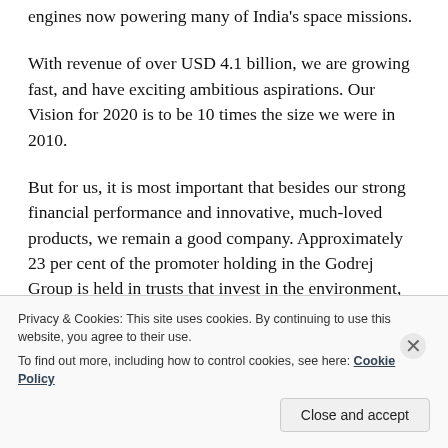engines now powering many of India's space missions.
With revenue of over USD 4.1 billion, we are growing fast, and have exciting ambitious aspirations. Our Vision for 2020 is to be 10 times the size we were in 2010.
But for us, it is most important that besides our strong financial performance and innovative, much-loved products, we remain a good company. Approximately 23 per cent of the promoter holding in the Godrej Group is held in trusts that invest in the environment, health
Privacy & Cookies: This site uses cookies. By continuing to use this website, you agree to their use.
To find out more, including how to control cookies, see here: Cookie Policy